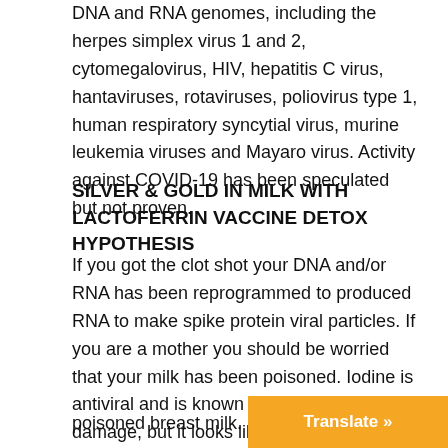DNA and RNA genomes, including the herpes simplex virus 1 and 2, cytomegalovirus, HIV, hepatitis C virus, hantaviruses, rotaviruses, poliovirus type 1, human respiratory syncytial virus, murine leukemia viruses and Mayaro virus. Activity against COVID-19 has been speculated but not proven.
SILVER & GOLD IN MILK WITH LACTOFERRIN VACCINE DETOX HYPOTHESIS
If you got the clot shot your DNA and/or RNA has been reprogrammed to produced RNA to make spike protein viral particles. If you are a mother you should be worried that your milk has been poisoned. Iodine is antiviral and is known to flush out vaccine damage, but it looks like if you arm your body with silver & gold that it can use it instead of iron in lactoferrin molecules in the milk for a superior protection which can likely neutralize poisoned breast milk.